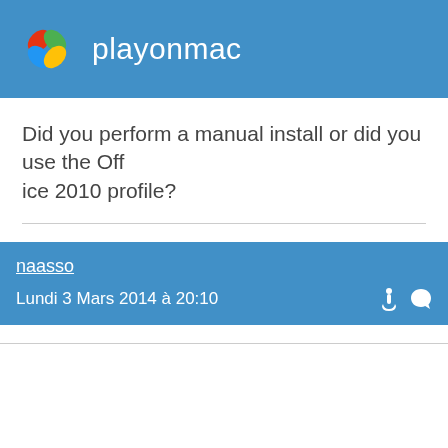playonmac
Did you perform a manual install or did you use the Office 2010 profile?
naasso
Lundi 3 Mars 2014 à 20:10